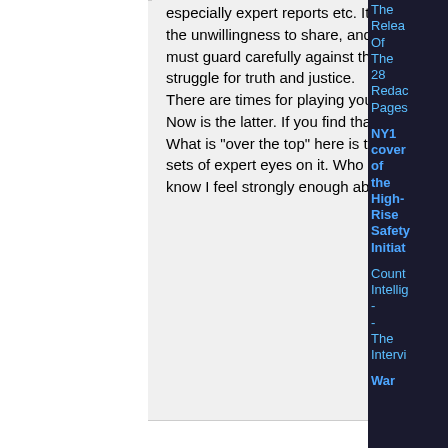especially expert reports etc. It is irresponsible and morally indefensible to any extent, to in any way mirror the unwillingness to share, and the officious nature of those at NIST etc who oppose us in our actions. We must guard carefully against those who would have us mimic the actions of those who oppose us in our struggle for truth and justice.
There are times for playing your cards close to your chest, and there's a time to be open and transparent. Now is the latter. If you find that "over the top", then so be it.
What is "over the top" here is the retention of evidence in these reports that should have so many more sets of expert eyes on it. Who knows what else would be found. There is no justification for it, and as you know I feel strongly enough about it to walk away with my head held high. Let's hope we all can.
gerrycan1 on Thu, 05/19/2016 - 9:53a
The Release Of The 28 Redacted Pages
NY1 coverage of the High-Rise Safety Initiative
Counter Intelligence - - The Interview
War